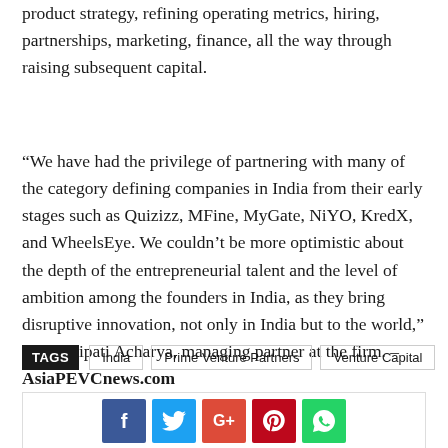product strategy, refining operating metrics, hiring, partnerships, marketing, finance, all the way through raising subsequent capital.
“We have had the privilege of partnering with many of the category defining companies in India from their early stages such as Quizizz, MFine, MyGate, NiYO, KredX, and WheelsEye. We couldn’t be more optimistic about the depth of the entrepreneurial talent and the level of ambition among the founders in India, as they bring disruptive innovation, not only in India but to the world,” said Shripati Acharya, managing partner at the firm. – AsiaPEVCnews.com
TAGS  India  Prime Venture Partners  Venture Capital
[Figure (infographic): Social sharing buttons: Facebook (blue), Twitter (cyan), Google+ (red), Pinterest (dark red), WhatsApp (green)]